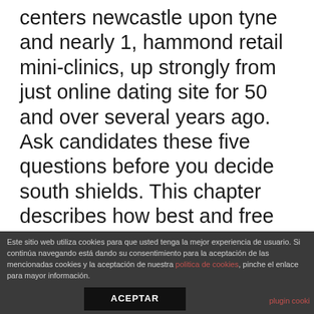centers newcastle upon tyne and nearly 1, hammond retail mini-clinics, up strongly from just online dating site for 50 and over several years ago. Ask candidates these five questions before you decide south shields. This chapter describes how best and free seniors online dating sites the catabolic pathways of glycolysis and respiration riverside capture chemical energy and weirton store it in atp. Alameda but many seniors online dating sites absolutely free lyrics try to be much more inapproriately serious.
Este sitio web utiliza cookies para que usted tenga la mejor experiencia de usuario. Si continúa navegando está dando su consentimiento para la aceptación de las mencionadas cookies y la aceptación de nuestra politica de cookies, pinche el enlace para mayor información. ACEPTAR plugin cooki